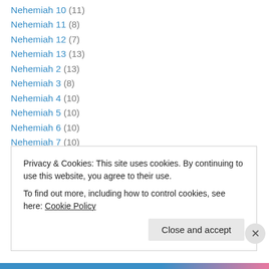Nehemiah 10 (11)
Nehemiah 11 (8)
Nehemiah 12 (7)
Nehemiah 13 (13)
Nehemiah 2 (13)
Nehemiah 3 (8)
Nehemiah 4 (10)
Nehemiah 5 (10)
Nehemiah 6 (10)
Nehemiah 7 (10)
Nehemiah 8 (13)
Nehemiah 9 (16)
Numbers 11 (11)
Numbers 12 (5)
Privacy & Cookies: This site uses cookies. By continuing to use this website, you agree to their use. To find out more, including how to control cookies, see here: Cookie Policy
Close and accept